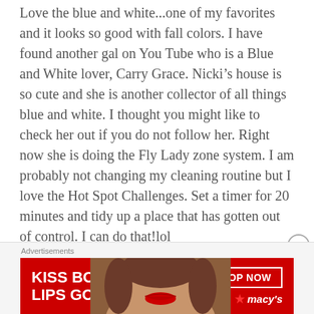Love the blue and white...one of my favorites and it looks so good with fall colors. I have found another gal on You Tube who is a Blue and White lover, Carry Grace. Nicki’s house is so cute and she is another collector of all things blue and white. I thought you might like to check her out if you do not follow her. Right now she is doing the Fly Lady zone system. I am probably not changing my cleaning routine but I love the Hot Spot Challenges. Set a timer for 20 minutes and tidy up a place that has gotten out of control. I can do that!lol
★ Like
Advertisements
[Figure (other): Macy's advertisement banner with text 'KISS BORING LIPS GOODBYE' and a SHOP NOW button with Macy's logo, showing a woman's face with red lips.]